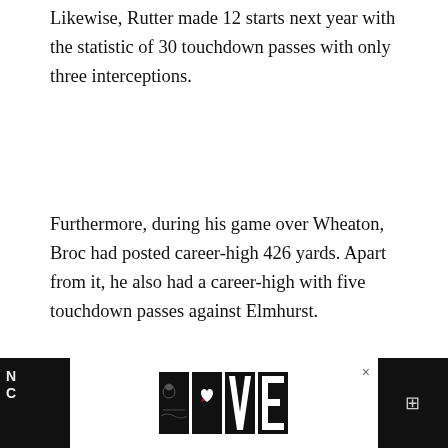Likewise, Rutter made 12 starts next year with the statistic of 30 touchdown passes with only three interceptions.
Furthermore, during his game over Wheaton, Broc had posted career-high 426 yards. Apart from it, he also had a career-high with five touchdown passes against Elmhurst.
All in all, the next year, Broc Rutter posted 309 passes for 4,591 yards and 56 touchdowns, while he started all the 15 games.
[Figure (screenshot): Advertisement bar at the bottom of the page showing a decorative LOVE text logo in black and white on a dark background, with a close button (x) and navigation icons.]